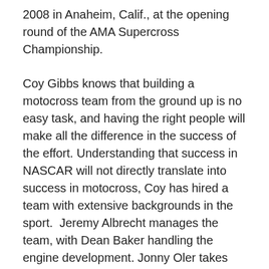2008 in Anaheim, Calif., at the opening round of the AMA Supercross Championship.
Coy Gibbs knows that building a motocross team from the ground up is no easy task, and having the right people will make all the difference in the success of the effort. Understanding that success in NASCAR will not directly translate into success in motocross, Coy has hired a team with extensive backgrounds in the sport.  Jeremy Albrecht manages the team, with Dean Baker handling the engine development. Jonny Oler takes care of suspension, and Spencer Bloomer heads up the testing and settings refinement duties. Patrick Barker provides the tuning duties for